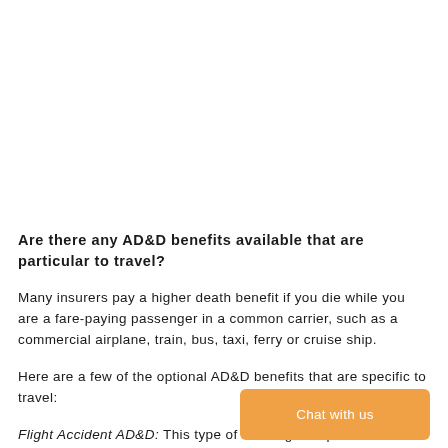Are there any AD&D benefits available that are particular to travel?
Many insurers pay a higher death benefit if you die while you are a fare-paying passenger in a common carrier, such as a commercial airplane, train, bus, taxi, ferry or cruise ship.
Here are a few of the optional AD&D benefits that are specific to travel:
Flight Accident AD&D: This type of coverage is specific to air travel,